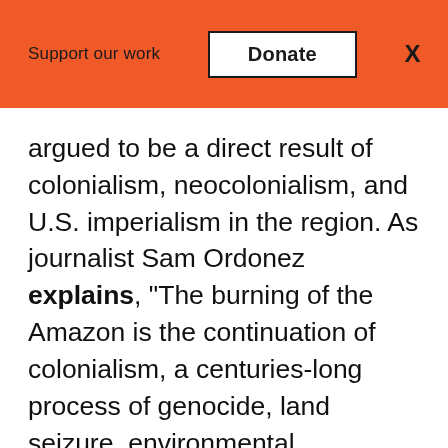Support our work   Donate   X
argued to be a direct result of colonialism, neocolonialism, and U.S. imperialism in the region. As journalist Sam Ordonez explains, “The burning of the Amazon is the continuation of colonialism, a centuries-long process of genocide, land seizure, environmental degradation, and exploitation.” Most of the beef produced in Brazil is not sold or consumed there but is shipped abroad to China, Hong Kong, the